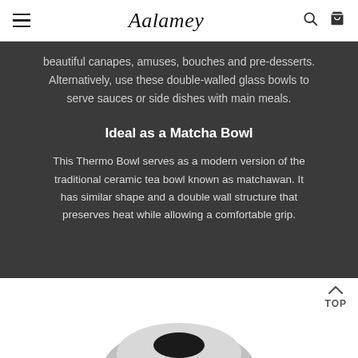Aalamey
beautiful canapes, amuses, bouches and pre-desserts. Alternatively, use these double-walled glass bowls to serve sauces or side dishes with main meals.
Ideal as a Matcha Bowl
This Thermo Bowl serves as a modern version of the traditional ceramic tea bowl known as matchawan. It has similar shape and a double wall structure that preserves heat while allowing a comfortable grip.
[Figure (photo): Partial product image of a bowl visible at bottom of page]